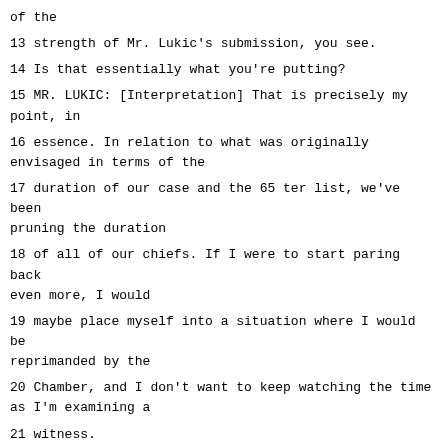of the
13 strength of Mr. Lukic's submission, you see.
14 Is that essentially what you're putting?
15 MR. LUKIC: [Interpretation] That is precisely my point, in
16 essence. In relation to what was originally envisaged in terms of the
17 duration of our case and the 65 ter list, we've been pruning the duration
18 of all of our chiefs. If I were to start paring back even more, I would
19 maybe place myself into a situation where I would be reprimanded by the
20 Chamber, and I don't want to keep watching the time as I'm examining a
21 witness.
22 I do, however, believe that there are witnesses that will be
23 appearing during our case that merit due attention, and that is what my